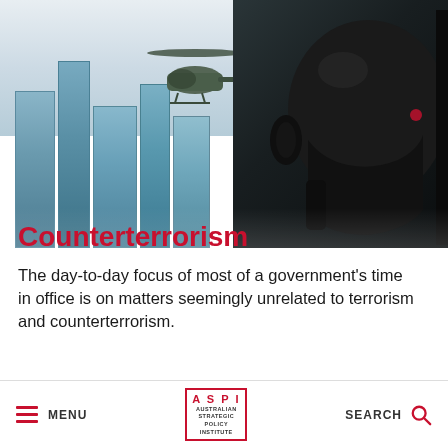[Figure (photo): Military/counterterrorism themed photo showing a helicopter flying past city skyscrapers on the left, and a close-up of a soldier wearing a dark tactical helmet on the right, viewed from inside an aircraft.]
Counterterrorism
The day-to-day focus of most of a government's time in office is on matters seemingly unrelated to terrorism and counterterrorism.
MENU | ASPI AUSTRALIAN STRATEGIC POLICY INSTITUTE | SEARCH